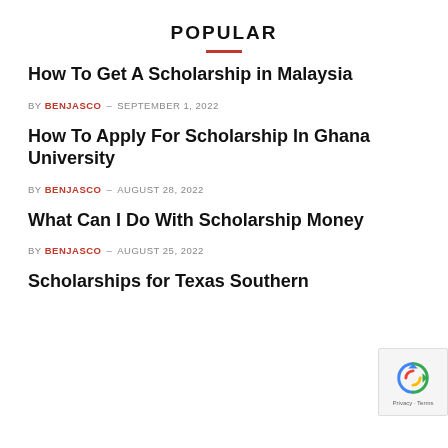POPULAR
How To Get A Scholarship in Malaysia
BY BENJASCO - SEPTEMBER 1, 2022
How To Apply For Scholarship In Ghana University
BY BENJASCO - AUGUST 28, 2022
What Can I Do With Scholarship Money
BY BENJASCO - AUGUST 25, 2022
Scholarships for Texas Southern